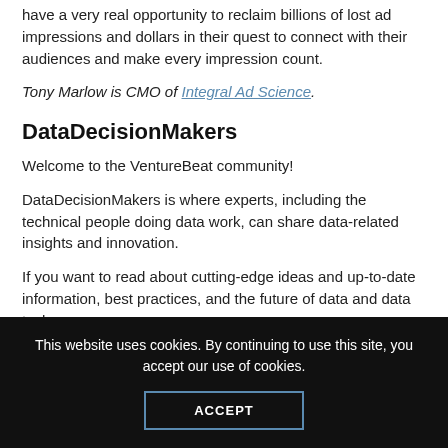have a very real opportunity to reclaim billions of lost ad impressions and dollars in their quest to connect with their audiences and make every impression count.
Tony Marlow is CMO of Integral Ad Science.
DataDecisionMakers
Welcome to the VentureBeat community!
DataDecisionMakers is where experts, including the technical people doing data work, can share data-related insights and innovation.
If you want to read about cutting-edge ideas and up-to-date information, best practices, and the future of data and data tech
This website uses cookies. By continuing to use this site, you accept our use of cookies.
ACCEPT